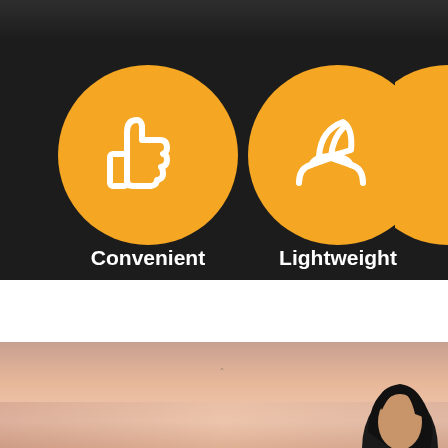[Figure (infographic): Dark background section with two orange circular icons. Left icon shows a thumbs-up symbol labeled 'Convenient'. Middle icon shows a hand holding a leaf/eco symbol labeled 'Lightweight'. A third partially visible orange circle is cut off at the right edge.]
[Figure (photo): Sunset/dusk outdoor photo with warm pink and peach sky tones. A person with long dark hair is visible at the bottom right of the frame.]